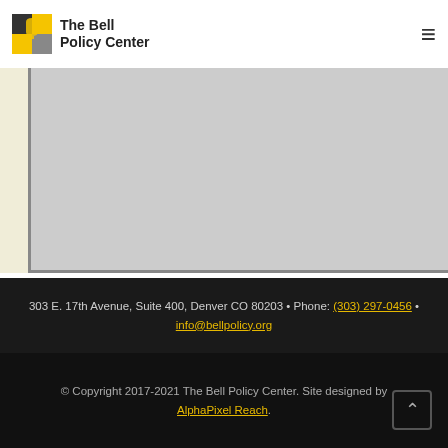[Figure (logo): The Bell Policy Center logo with bell icon and text]
[Figure (map): Embedded map placeholder showing light grey area, likely a Google Maps embed]
303 E. 17th Avenue, Suite 400, Denver CO 80203 • Phone: (303) 297-0456 • info@bellpolicy.org
© Copyright 2017-2021 The Bell Policy Center. Site designed by AlphaPixel Reach.